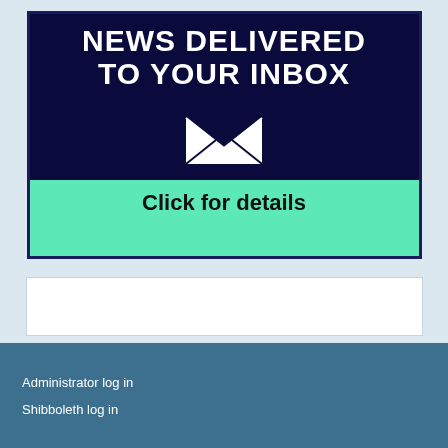[Figure (infographic): Banner advertisement on mint green background with dark navy blue inner panel. Text reads 'NEWS DELIVERED TO YOUR INBOX' in white bold uppercase letters with a white envelope icon below. Below the navy panel on the green background: 'Click for details' in bold black text.]
Administrator log in
Shibboleth log in